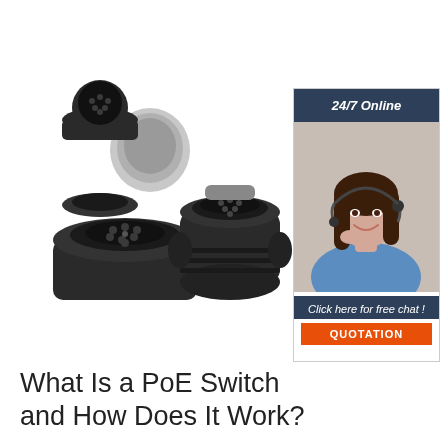[Figure (photo): Two black plastic electrical trailer socket connectors with flip-open protective covers, showing pin arrangements inside]
[Figure (photo): Advertisement sidebar featuring a female customer service agent wearing a headset and smiling, with '24/7 Online' header, 'Click here for free chat!' text, and an orange QUOTATION button]
What Is a PoE Switch and How Does It Work?